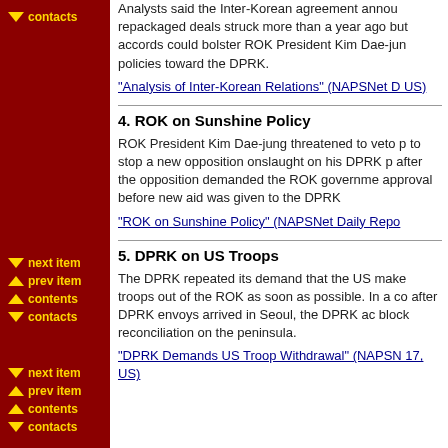Analysts said the Inter-Korean agreement announced repackaged deals struck more than a year ago but accords could bolster ROK President Kim Dae-jung policies toward the DPRK.
"Analysis of Inter-Korean Relations" (NAPSNet Daily, US)
4. ROK on Sunshine Policy
ROK President Kim Dae-jung threatened to veto p to stop a new opposition onslaught on his DPRK p after the opposition demanded the ROK governme approval before new aid was given to the DPRK
"ROK on Sunshine Policy" (NAPSNet Daily Repo
5. DPRK on US Troops
The DPRK repeated its demand that the US make troops out of the ROK as soon as possible. In a co after DPRK envoys arrived in Seoul, the DPRK ac block reconciliation on the peninsula.
"DPRK Demands US Troop Withdrawal" (NAPSN 17, US)